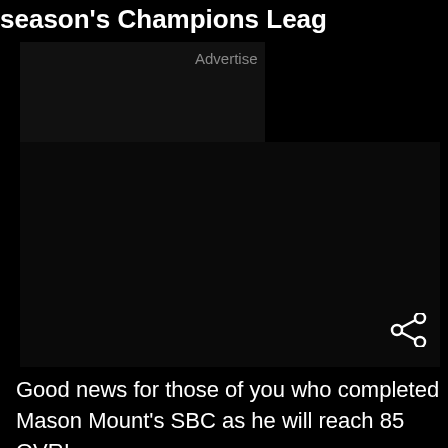season's Champions Leag
[Figure (screenshot): Dark advertisement block with 'Advertise' label visible at top center, large black content area with a share icon in the bottom right corner]
Good news for those of you who completed Mason Mount's SBC as he will reach 85 OVR!